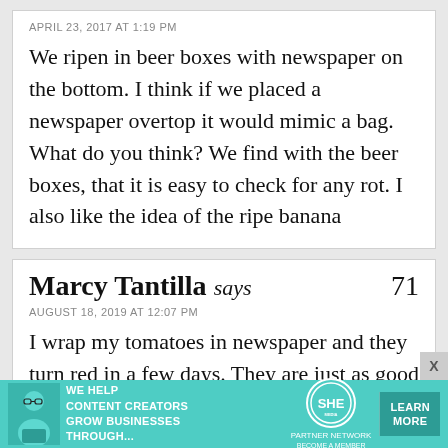APRIL 23, 2017 AT 1:19 PM
We ripen in beer boxes with newspaper on the bottom. I think if we placed a newspaper overtop it would mimic a bag. What do you think? We find with the beer boxes, that it is easy to check for any rot. I also like the idea of the ripe banana
Marcy Tantilla says 71
AUGUST 18, 2019 AT 12:07 PM
I wrap my tomatoes in newspaper and they turn red in a few days. They are just as good as if I picked them off the vine. I never have a waste of tomatoes that way. I am your
[Figure (infographic): Advertisement banner for SHE Media Partner Network: text says WE HELP CONTENT CREATORS GROW BUSINESSES THROUGH... with SHE logo and LEARN MORE button]